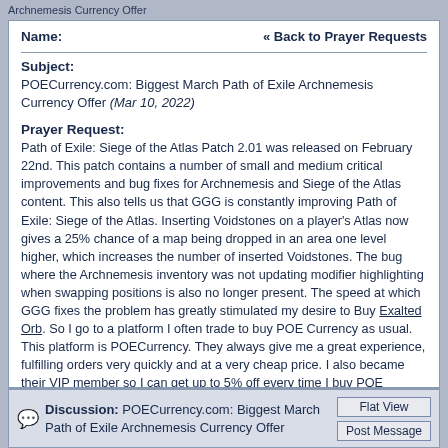Archnemesis Currency Offer
Name:
« Back to Prayer Requests
Subject:
POECurrency.com: Biggest March Path of Exile Archnemesis Currency Offer (Mar 10, 2022)
Prayer Request:
Path of Exile: Siege of the Atlas Patch 2.01 was released on February 22nd. This patch contains a number of small and medium critical improvements and bug fixes for Archnemesis and Siege of the Atlas content. This also tells us that GGG is constantly improving Path of Exile: Siege of the Atlas. Inserting Voidstones on a player's Atlas now gives a 25% chance of a map being dropped in an area one level higher, which increases the number of inserted Voidstones. The bug where the Archnemesis inventory was not updating modifier highlighting when swapping positions is also no longer present. The speed at which GGG fixes the problem has greatly stimulated my desire to Buy Exalted Orb. So I go to a platform I often trade to buy POE Currency as usual. This platform is POECurrency. They always give me a great experience, fulfilling orders very quickly and at a very cheap price. I also became their VIP member so I can get up to 5% off every time I buy POE Currency. https://www.poecurrency.com/ should be trusted by every Path of Exile player.
Discussion: POECurrency.com: Biggest March Path of Exile Archnemesis Currency Offer